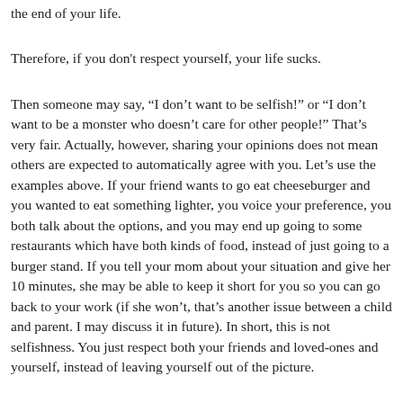the end of your life.
Therefore, if you don't respect yourself, your life sucks.
Then someone may say, “I don’t want to be selfish!” or “I don’t want to be a monster who doesn’t care for other people!” That’s very fair. Actually, however, sharing your opinions does not mean others are expected to automatically agree with you. Let’s use the examples above. If your friend wants to go eat cheeseburger and you wanted to eat something lighter, you voice your preference, you both talk about the options, and you may end up going to some restaurants which have both kinds of food, instead of just going to a burger stand. If you tell your mom about your situation and give her 10 minutes, she may be able to keep it short for you so you can go back to your work (if she won’t, that’s another issue between a child and parent. I may discuss it in future). In short, this is not selfishness. You just respect both your friends and loved-ones and yourself, instead of leaving yourself out of the picture.